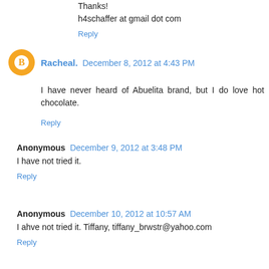Thanks!
h4schaffer at gmail dot com
Reply
Racheal. December 8, 2012 at 4:43 PM
I have never heard of Abuelita brand, but I do love hot chocolate.
Reply
Anonymous December 9, 2012 at 3:48 PM
I have not tried it.
Reply
Anonymous December 10, 2012 at 10:57 AM
I ahve not tried it. Tiffany, tiffany_brwstr@yahoo.com
Reply